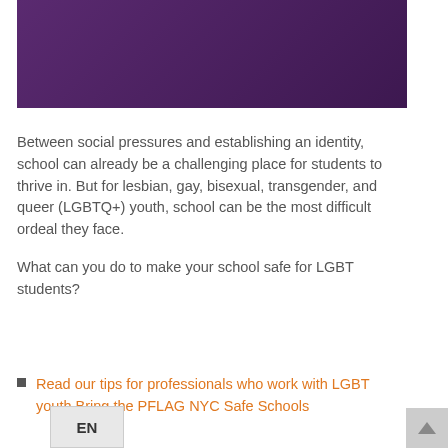[Figure (illustration): Purple/dark violet banner image at the top of the page with geometric pattern]
Between social pressures and establishing an identity, school can already be a challenging place for students to thrive in. But for lesbian, gay, bisexual, transgender, and queer (LGBTQ+) youth, school can be the most difficult ordeal they face.
What can you do to make your school safe for LGBT students?
Read our tips for professionals who work with LGBT youth Bring the PFLAG NYC Safe Schools